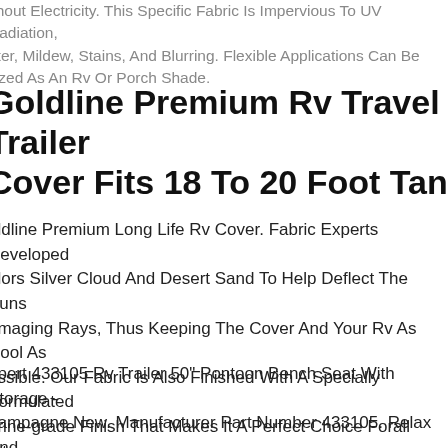ithout Electricity. This Specific Fabric Is Impervious To UV Radiation, ater, Mildew, Stains, And Blurring. Flexible Applications Can Be ilized As An Rv Or Porch Shade.
Goldline Premium Rv Travel Trailer Cover Fits 18 To 20 Foot Tan
oldline Premium Long Life Rv Cover. Fabric Experts Developed olors Silver Cloud And Desert Sand To Help Deflect The Suns amaging Rays, Thus Keeping The Cover And Your Rv As Cool As ossible. Our Fabric Is Also Finished With A Specially Formulated arine-grade Finish That Makes It A Perfect Choice Forall Intense onditions Desert And Mountain.
opert 433105 Rv Trailer 50" Pontoon Bench Seat With Storage - hampagne New. Manufacturer Part Number 433105. Relax And nwind On The Bench Seating That Sets The Industry Standard. Larg y Storage Areas With Channels For Drainage. Rotationally Molded